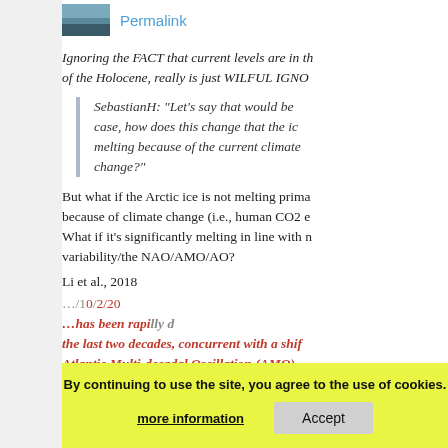[Figure (photo): Small thumbnail image of Arctic or landscape scene]
Permalink
Ignoring the FACT that current levels are in the of the Holocene, really is just WILFUL IGNO
SebastianH: "Let's say that would be case, how does this change that the ic melting because of the current climate change?"
But what if the Arctic ice is not melting prima because of climate change (i.e., human CO2 e What if it's significantly melting in line with n variability/the NAO/AMO/AO?
Li et al., 2018
…/10/2/20 … has been rapidly d the last two decades, concurrent with a shift Atlantic Multi-decadal Oscillation (AMO)…
By continuing to use the site, you agree to the use of cookies.
more information
Accept